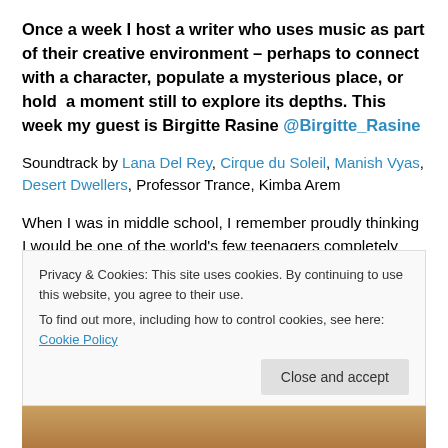Once a week I host a writer who uses music as part of their creative environment – perhaps to connect with a character, populate a mysterious place, or hold  a moment still to explore its depths. This week my guest is Birgitte Rasine @Birgitte_Rasine
Soundtrack by Lana Del Rey, Cirque du Soleil, Manish Vyas, Desert Dwellers, Professor Trance, Kimba Arem
When I was in middle school, I remember proudly thinking I would be one of the world's few teenagers completely
Privacy & Cookies: This site uses cookies. By continuing to use this website, you agree to their use.
To find out more, including how to control cookies, see here: Cookie Policy
Close and accept